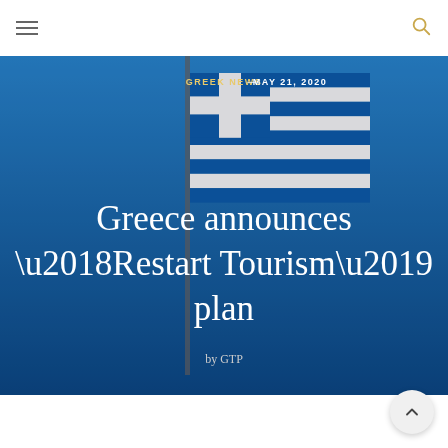GREEK NEWS — MAY 21, 2020
Greece announces ‘Restart Tourism’ plan
by GTP
[Figure (photo): Greek flag waving against a blue sky background, serving as the hero image for the article]